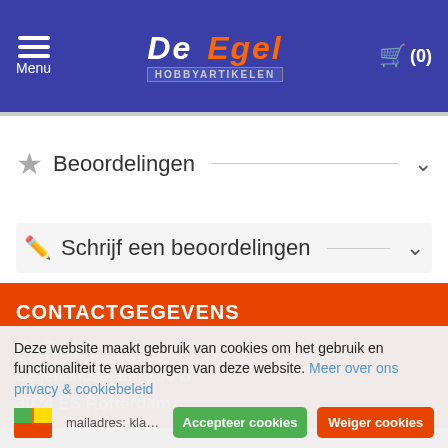Menu | De Egel Hobbyartikelen | (0)
Beoordelingen
Schrijf een beoordelingen
CONTACTGEGEVENS
De Egel
Beijerlandselaan 180 B
3074 ES Rotterdam
Deze website maakt gebruik van cookies om het gebruik en functionaliteit te waarborgen van deze website. Meer over ons privacy & cookiebeleid
mailadres: klantenservice@...
Accepteer cookies
Weiger cookies